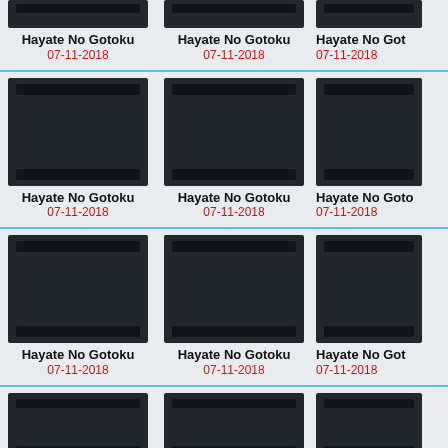[Figure (screenshot): Grid of video thumbnails showing 'Hayate No Gotoku' entries dated 07-11-2018, arranged in rows of 3 columns with dark placeholder thumbnails]
Hayate No Gotoku
07-11-2018
Hayate No Gotoku
07-11-2018
Hayate No Gotoku
07-11-2018
Hayate No Gotoku
07-11-2018
Hayate No Gotoku
07-11-2018
Hayate No Gotoku
07-11-2018
Hayate No Gotoku
07-11-2018
Hayate No Gotoku
07-11-2018
Hayate No Gotoku
07-11-2018